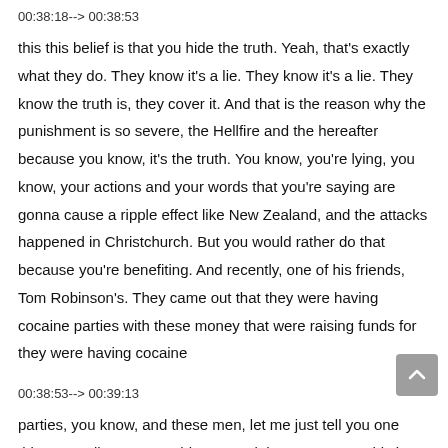00:38:18--> 00:38:53
this this belief is that you hide the truth. Yeah, that's exactly what they do. They know it's a lie. They know it's a lie. They know the truth is, they cover it. And that is the reason why the punishment is so severe, the Hellfire and the hereafter because you know, it's the truth. You know, you're lying, you know, your actions and your words that you're saying are gonna cause a ripple effect like New Zealand, and the attacks happened in Christchurch. But you would rather do that because you're benefiting. And recently, one of his friends, Tom Robinson's. They came out that they were having cocaine parties with these money that were raising funds for they were having cocaine
00:38:53--> 00:39:13
parties, you know, and these men, let me just tell you one thing as well. Tommy Robinson, and there's one guy this is a fact. Wait, who